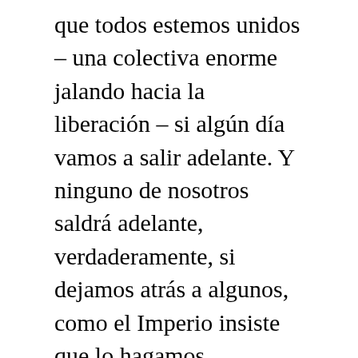que todos estemos unidos – una colectiva enorme jalando hacia la liberación – si algún día vamos a salir adelante. Y ninguno de nosotros saldrá adelante, verdaderamente, si dejamos atrás a algunos, como el Imperio insiste que lo hagamos.
Mientras Fe en Acción centra las historias de los trabajadores esenciales durante este mes, yo estaré leyendo con gran atención devota, porque las vidas de estos seres queridos son esenciales. Y, porque sus historias son un texto sagrado; contienen sabiduría que puede crear un mapa del camino hacia delante al mundo con el que hemos soñado. No tenemos que